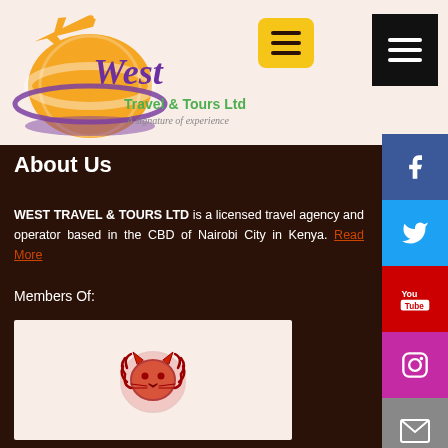[Figure (logo): West Travel & Tours Ltd logo - orange globe with airplane and purple 'West' text, with tagline 'A signature of experience']
[Figure (infographic): Yellow hamburger menu button (top center)]
[Figure (infographic): Black hamburger menu button (top right)]
[Figure (infographic): Social media sidebar with Facebook, Twitter, YouTube, Instagram, Email icons]
About Us
WEST TRAVEL & TOURS LTD is a licensed travel agency and operator based in the CBD of Nairobi City in Kenya. Read More
Members Of:
[Figure (logo): Red lion head logo (member organization)]